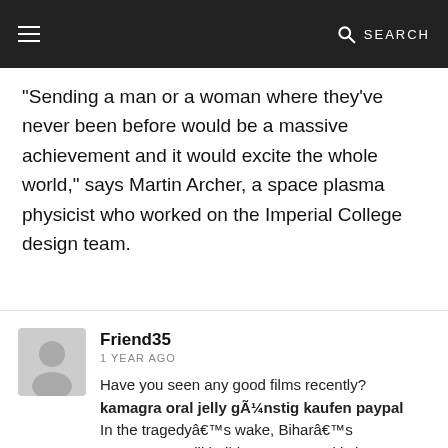☰  SEARCH
"Sending a man or a woman where they've never been before would be a massive achievement and it would excite the whole world," says Martin Archer, a space plasma physicist who worked on the Imperial College design team.
Friend35
1 YEAR AGO
Have you seen any good films recently? kamagra oral jelly günstig kaufen paypal
In the tragedy's wake, Bihar's government will build a permanent kitchen at each of the 14,000 schools in the province without one, Lakshmanan said. Schools received just 3.5 rupees (6 cents) a day